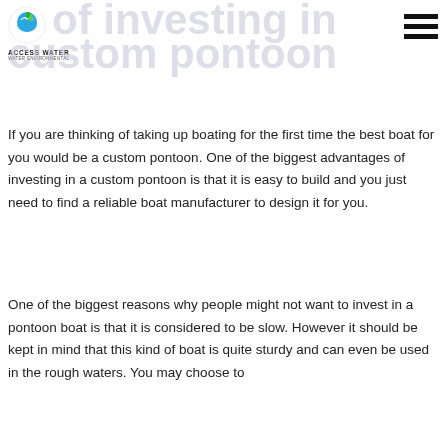ACCESS WATER
of investing in custom pontoon
If you are thinking of taking up boating for the first time the best boat for you would be a custom pontoon. One of the biggest advantages of investing in a custom pontoon is that it is easy to build and you just need to find a reliable boat manufacturer to design it for you.
One of the biggest reasons why people might not want to invest in a pontoon boat is that it is considered to be slow. However it should be kept in mind that this kind of boat is quite sturdy and can even be used in the rough waters. You may choose to